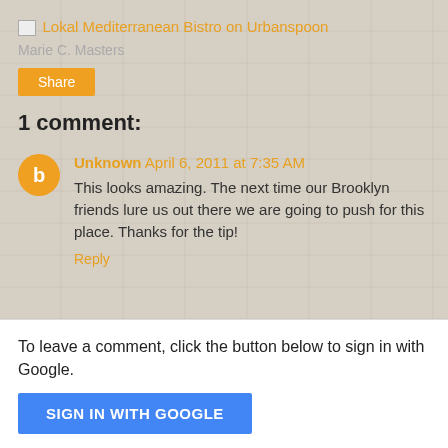Lokal Mediterranean Bistro on Urbanspoon
Marie C. Masters
Share
1 comment:
Unknown April 6, 2011 at 7:35 AM
This looks amazing. The next time our Brooklyn friends lure us out there we are going to push for this place. Thanks for the tip!
Reply
To leave a comment, click the button below to sign in with Google.
SIGN IN WITH GOOGLE